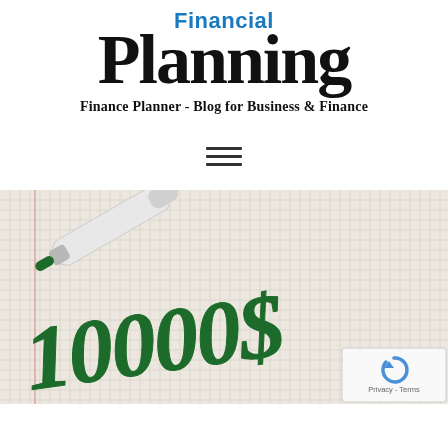Financial Planning
Finance Planner - Blog for Business & Finance
[Figure (illustration): Hamburger menu icon with three horizontal lines]
[Figure (photo): A green marker pen lying on grid paper with '10000$' written in green marker ink. A reCAPTCHA badge with 'Privacy - Terms' text is visible in the bottom right corner.]